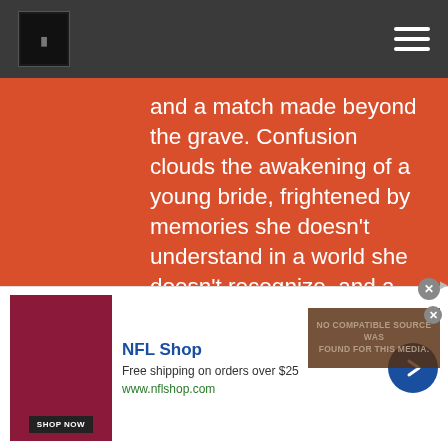Website header with logo and hamburger menu
and a match made beyond the grave. Confusion clouds the awakening of a young bride, frightened by memories she doesn't understand in a world she doesn't recognize, and a duty she has tried to forget. A heartbroken musician struggles to stay afloat during COVID-19 lockdown, and discovers a love song that unites two souls. Two women, separated by ages, connect across the veil of time, allowing hope to grow from despair, and allowing love to tether itself into a better world.
[Figure (other): Media player overlay showing NO COMPATIBLE SOURCE WAS FOUND FOR THIS MEDIA error message over a dark brownish background]
[Figure (other): Advertisement for NFL Shop: Free shipping on orders over $25, www.nflshop.com, with red/burgundy product image and SHOP NOW button, navigation arrow button]